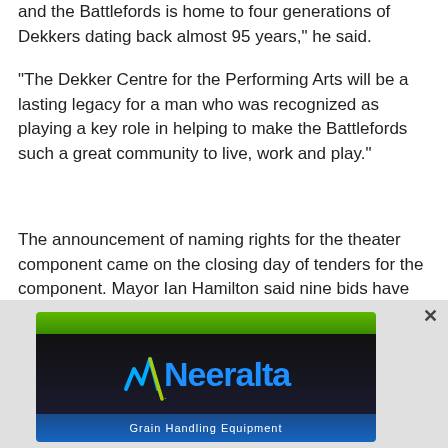and the Battlefords is home to four generations of Dekkers dating back almost 95 years," he said.
"The Dekker Centre for the Performing Arts will be a lasting legacy for a man who was recognized as playing a key role in helping to make the Battlefords such a great community to live, work and play."
The announcement of naming rights for the theater component came on the closing day of tenders for the component. Mayor Ian Hamilton said nine bids have come in from across Canada, and that the pricing was competitive, and that the bids will be evaluated over the next few days.
[Figure (logo): Neeralta Grain Handling Equipment advertisement banner with green bar on top, dark background with blue Neeralta logo and stylized checkmark, and blue bar at bottom with white text 'Grain Handling Equipment']